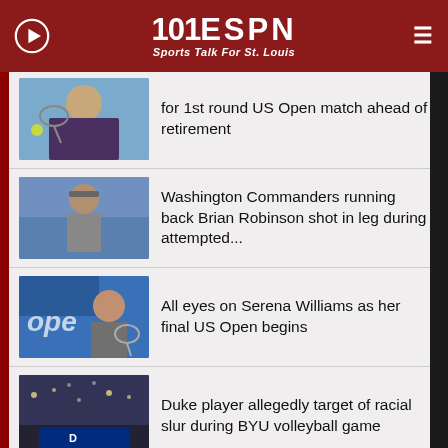101 ESPN — Sports Talk For St. Louis
for 1st round US Open match ahead of retirement
Washington Commanders running back Brian Robinson shot in leg during attempted...
All eyes on Serena Williams as her final US Open begins
Duke player allegedly target of racial slur during BYU volleyball game